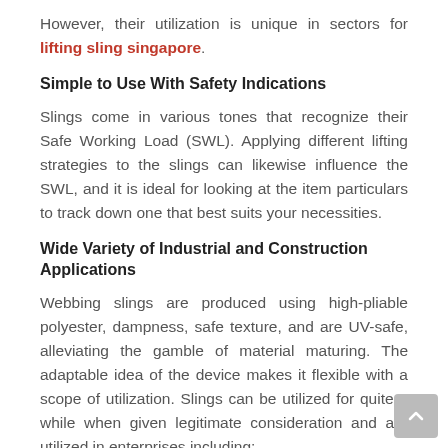However, their utilization is unique in sectors for lifting sling singapore.
Simple to Use With Safety Indications
Slings come in various tones that recognize their Safe Working Load (SWL). Applying different lifting strategies to the slings can likewise influence the SWL, and it is ideal for looking at the item particulars to track down one that best suits your necessities.
Wide Variety of Industrial and Construction Applications
Webbing slings are produced using high-pliable polyester, dampness, safe texture, and are UV-safe, alleviating the gamble of material maturing. The adaptable idea of the device makes it flexible with a scope of utilization. Slings can be utilized for quite a while when given legitimate consideration and are utilized in enterprises including: